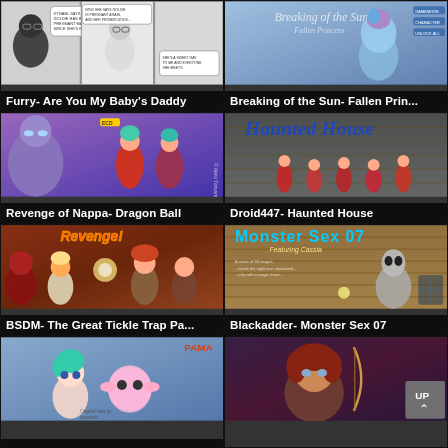[Figure (illustration): Black and white comic panels showing furry characters with speech bubbles]
Furry- Are You My Baby’s Daddy
[Figure (illustration): 3D rendered colorful alien/fantasy character in a science fiction setting with UI overlays]
Breaking of the Sun- Fallen Prin...
[Figure (illustration): Anime style illustration of characters from Dragon Ball including two females in red outfits and a large bald figure]
Revenge of Nappa- Dragon Ball
[Figure (illustration): 3D rendered scene showing women in red outfits in a dimly lit haunted house interior with cursive Haunted House text]
Droid447- Haunted House
[Figure (illustration): Colorful anime/comic art showing multiple female characters with Revenge title text in orange]
BSDM- The Great Tickle Trap Pa...
[Figure (illustration): Monster Sex 07 featuring Cassia text overlay on wooden cabin background with tall grey alien figure]
Blackadder- Monster Sex 07
[Figure (illustration): Anime style characters including a teal-haired girl and pink creature with PAMA text]
[Figure (illustration): Fantasy artwork showing a female warrior character with auburn hair and UP navigation button overlay]